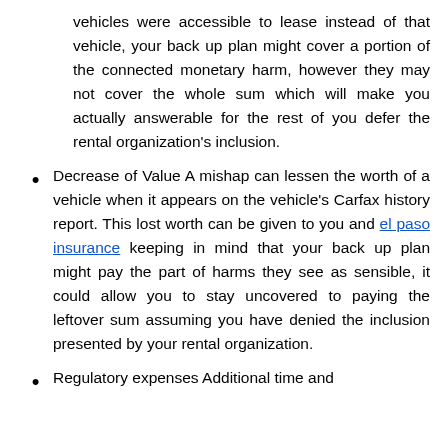vehicles were accessible to lease instead of that vehicle, your back up plan might cover a portion of the connected monetary harm, however they may not cover the whole sum which will make you actually answerable for the rest of you defer the rental organization's inclusion.
Decrease of Value A mishap can lessen the worth of a vehicle when it appears on the vehicle's Carfax history report. This lost worth can be given to you and el paso insurance keeping in mind that your back up plan might pay the part of harms they see as sensible, it could allow you to stay uncovered to paying the leftover sum assuming you have denied the inclusion presented by your rental organization.
Regulatory expenses Additional time and